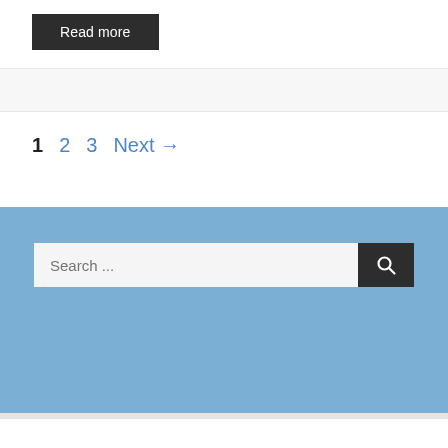Read more
1  2  3  Next →
[Figure (screenshot): Search bar with text input 'Search ...' and a dark search button with magnifying glass icon, on a blue background footer area]